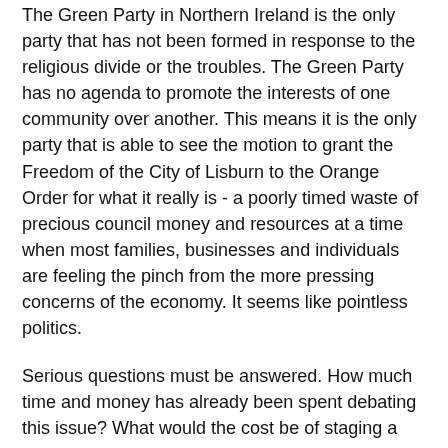The Green Party in Northern Ireland is the only party that has not been formed in response to the religious divide or the troubles. The Green Party has no agenda to promote the interests of one community over another. This means it is the only party that is able to see the motion to grant the Freedom of the City of Lisburn to the Orange Order for what it really is - a poorly timed waste of precious council money and resources at a time when most families, businesses and individuals are feeling the pinch from the more pressing concerns of the economy. It seems like pointless politics.
Serious questions must be answered. How much time and money has already been spent debating this issue? What would the cost be of staging a gala event should the bid be successful? Is this something that the Orange Order itself welcomes, given the level of controversy it has already generated?
Lisburn does not need this kind of PR for its people, and for its businesses that attract custom from all across Northern Ireland and the Republic of Ireland. Lisburn should not be seen as the last bastion of the deadlocked days of the past.